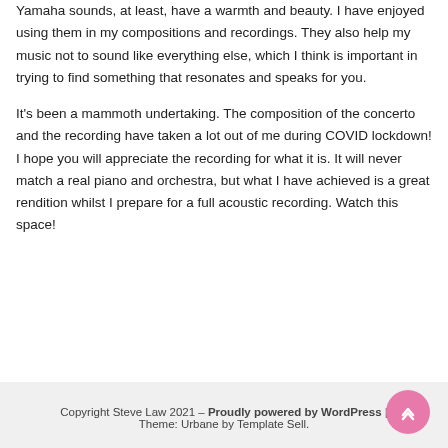Yamaha sounds, at least, have a warmth and beauty. I have enjoyed using them in my compositions and recordings. They also help my music not to sound like everything else, which I think is important in trying to find something that resonates and speaks for you.
It's been a mammoth undertaking. The composition of the concerto and the recording have taken a lot out of me during COVID lockdown! I hope you will appreciate the recording for what it is. It will never match a real piano and orchestra, but what I have achieved is a great rendition whilst I prepare for a full acoustic recording. Watch this space!
Copyright Steve Law 2021 – Proudly powered by WordPress | Theme: Urbane by Template Sell.